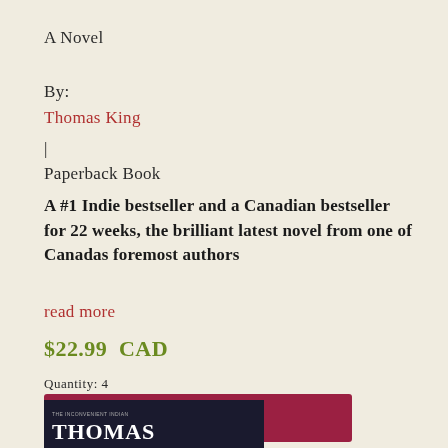A Novel
By:
Thomas King
|
Paperback Book
A #1 Indie bestseller and a Canadian bestseller for 22 weeks, the brilliant latest novel from one of Canadas foremost authors
read more
$22.99  CAD
Quantity: 4
Add to cart
[Figure (photo): Book cover showing partial text 'THOMAS' on dark background with subtitle text at top]